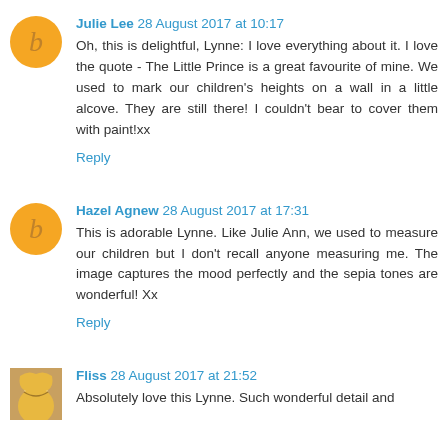Julie Lee 28 August 2017 at 10:17
Oh, this is delightful, Lynne: I love everything about it. I love the quote - The Little Prince is a great favourite of mine. We used to mark our children's heights on a wall in a little alcove. They are still there! I couldn't bear to cover them with paint!xx
Reply
Hazel Agnew 28 August 2017 at 17:31
This is adorable Lynne. Like Julie Ann, we used to measure our children but I don't recall anyone measuring me. The image captures the mood perfectly and the sepia tones are wonderful! Xx
Reply
Fliss 28 August 2017 at 21:52
Absolutely love this Lynne. Such wonderful detail and